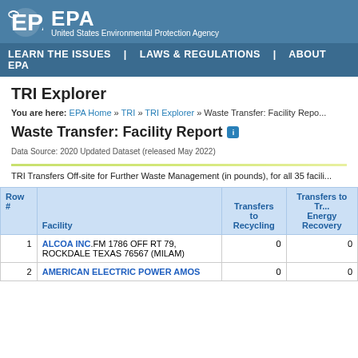EPA - United States Environmental Protection Agency
LEARN THE ISSUES | LAWS & REGULATIONS | ABOUT EPA
TRI Explorer
You are here: EPA Home » TRI » TRI Explorer » Waste Transfer: Facility Report
Waste Transfer: Facility Report
Data Source: 2020 Updated Dataset (released May 2022)
TRI Transfers Off-site for Further Waste Management (in pounds), for all 35 facili...
| Row # | Facility | Transfers to Recycling | Transfers to Treatment Energy Recovery |
| --- | --- | --- | --- |
| 1 | ALCOA INC.FM 1786 OFF RT 79, ROCKDALE TEXAS 76567 (MILAM) | 0 | 0 |
| 2 | AMERICAN ELECTRIC POWER AMOS | 0 | 0 |